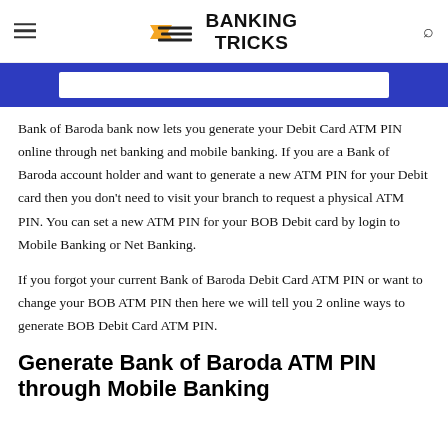BANKING TRICKS
[Figure (other): Blue banner strip with white search/input bar inside]
Bank of Baroda bank now lets you generate your Debit Card ATM PIN online through net banking and mobile banking. If you are a Bank of Baroda account holder and want to generate a new ATM PIN for your Debit card then you don't need to visit your branch to request a physical ATM PIN. You can set a new ATM PIN for your BOB Debit card by login to Mobile Banking or Net Banking.
If you forgot your current Bank of Baroda Debit Card ATM PIN or want to change your BOB ATM PIN then here we will tell you 2 online ways to generate BOB Debit Card ATM PIN.
Generate Bank of Baroda ATM PIN through Mobile Banking